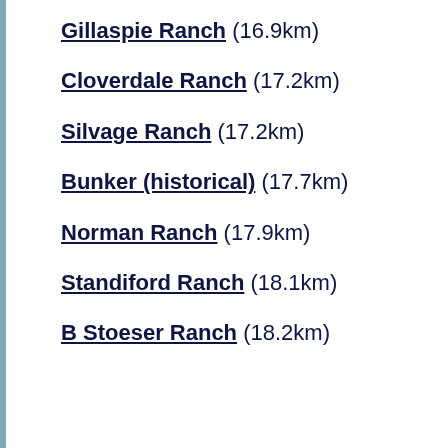Gillaspie Ranch (16.9km)
Cloverdale Ranch (17.2km)
Silvage Ranch (17.2km)
Bunker (historical) (17.7km)
Norman Ranch (17.9km)
Standiford Ranch (18.1km)
B Stoeser Ranch (18.2km)